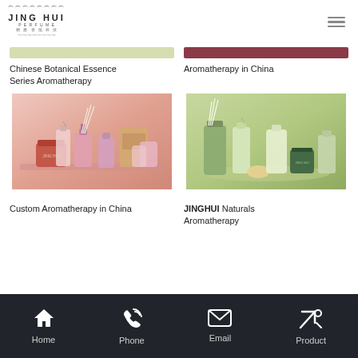[Figure (logo): Jing Hui brand logo with ornate border and Chinese-style decorative elements]
Chinese Botanical Essence Series Aromatherapy
Aromatherapy in China
[Figure (photo): Pink-themed aromatherapy product set with diffuser sticks, bottles and candle on pink background]
[Figure (photo): Green-themed aromatherapy product set with diffuser sticks, bottles and containers on green background]
Custom Aromatherapy in China
JINGHUI Naturals Aromatherapy
Home  Phone  Email  Product